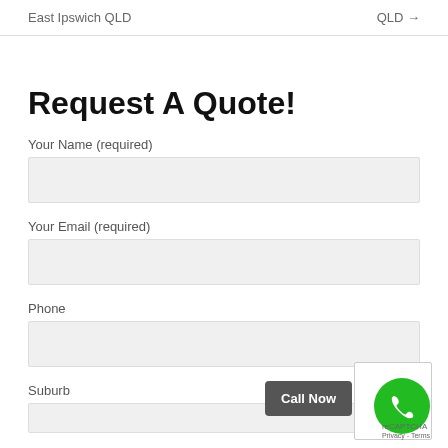East Ipswich QLD	QLD →
Request A Quote!
Your Name (required)
Your Email (required)
Phone
Suburb
Call Now